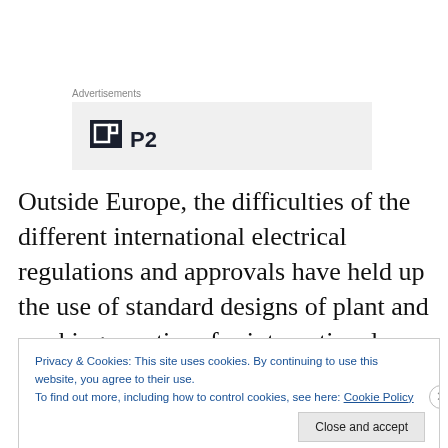Advertisements
[Figure (logo): P2 logo with dark square icon and bold P2 text on grey background]
Outside Europe, the difficulties of the different international electrical regulations and approvals have held up the use of standard designs of plant and working practices for international companies, such as Shell, BP, Rolls Royce and Siemens.
Privacy & Cookies: This site uses cookies. By continuing to use this website, you agree to their use.
To find out more, including how to control cookies, see here: Cookie Policy